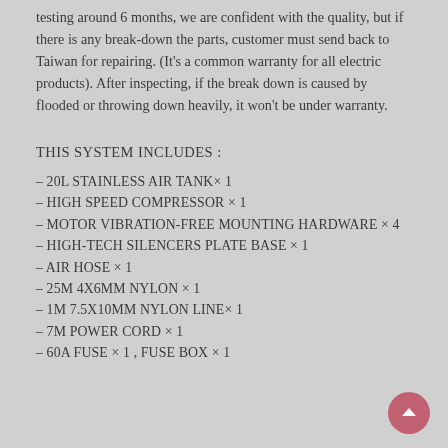testing around 6 months, we are confident with the quality, but if there is any break-down the parts, customer must send back to Taiwan for repairing. (It's a common warranty for all electric products). After inspecting, if the break down is caused by flooded or throwing down heavily, it won't be under warranty.
THIS SYSTEM INCLUDES :
– 20L STAINLESS AIR TANK× 1
– HIGH SPEED COMPRESSOR × 1
– MOTOR VIBRATION-FREE MOUNTING HARDWARE × 4
– HIGH-TECH SILENCERS PLATE BASE × 1
– AIR HOSE × 1
– 25M 4X6MM NYLON × 1
– 1M 7.5X10MM NYLON LINE× 1
– 7M POWER CORD × 1
– 60A FUSE × 1 , FUSE BOX × 1